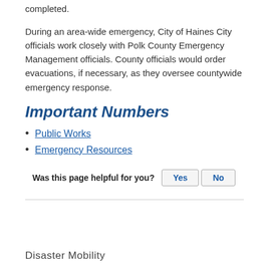completed.
During an area-wide emergency, City of Haines City officials work closely with Polk County Emergency Management officials. County officials would order evacuations, if necessary, as they oversee countywide emergency response.
Important Numbers
Public Works
Emergency Resources
Was this page helpful for you? Yes No
Disaster Mobility